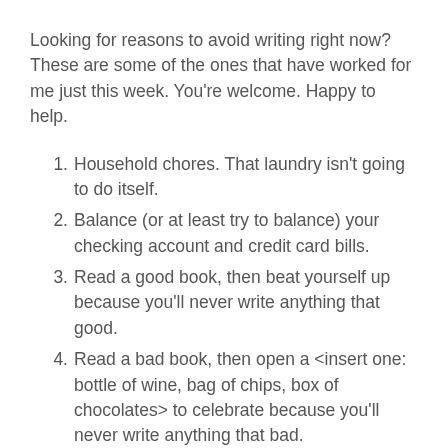Looking for reasons to avoid writing right now? These are some of the ones that have worked for me just this week. You're welcome. Happy to help.
Household chores. That laundry isn't going to do itself.
Balance (or at least try to balance) your checking account and credit card bills.
Read a good book, then beat yourself up because you'll never write anything that good.
Read a bad book, then open a <insert one: bottle of wine, bag of chips, box of chocolates> to celebrate because you'll never write anything that bad.
Drive your son/daughter to their ...